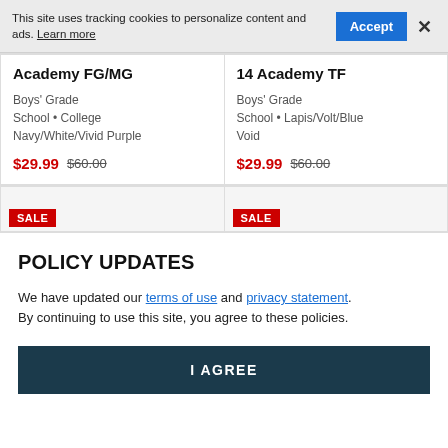This site uses tracking cookies to personalize content and ads. Learn more
Accept
×
Academy FG/MG
Boys' Grade School • College Navy/White/Vivid Purple
$29.99  $60.00
14 Academy TF
Boys' Grade School • Lapis/Volt/Blue Void
$29.99  $60.00
SALE
SALE
POLICY UPDATES
We have updated our terms of use and privacy statement. By continuing to use this site, you agree to these policies.
I AGREE